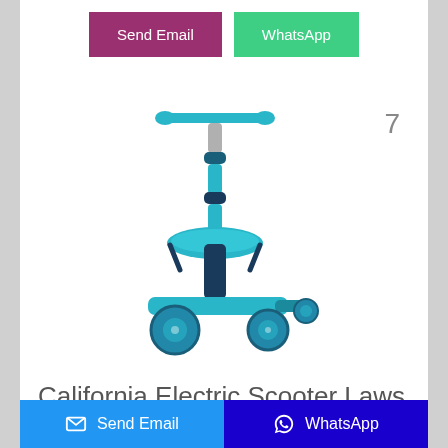Send Email
WhatsApp
7
[Figure (photo): Blue children's electric/kick scooter with seat, three wheels, adjustable handlebar, and teal/aqua color scheme]
California Electric Scooter Laws to Know in 2022 ...
Jul 14, 2021·The following are the seven e-scooter laws in California and other guidelines that require electric scooters or e-scooter riders in California to obey, namely: Minors must wear helmets (California Vehicle Code 21235) Maximum speed is 15 mph (CVC 22411)
Send Email
WhatsApp